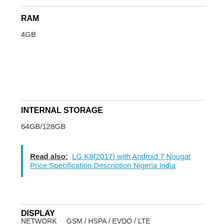RAM
4GB
INTERNAL STORAGE
64GB/128GB
Read also: LG K8(2017) with Android 7 Nougat Price Specification Description Nigeria India
DISPLAY
NETWORK   GSM / HSPA / EVDO / LTE